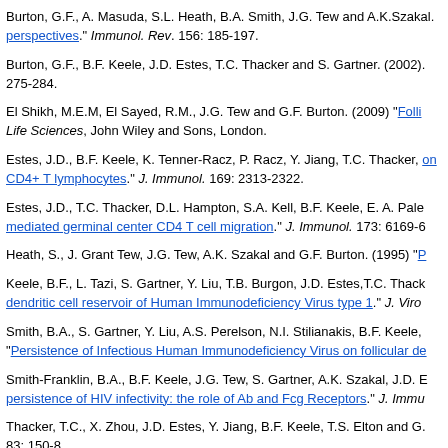Burton, G.F., A. Masuda, S.L. Heath, B.A. Smith, J.G. Tew and A.K.Szakal. perspectives." Immunol. Rev. 156: 185-197.
Burton, G.F., B.F. Keele, J.D. Estes, T.C. Thacker and S. Gartner. (2002). 275-284.
El Shikh, M.E.M, El Sayed, R.M., J.G. Tew and G.F. Burton. (2009) "Folli Life Sciences, John Wiley and Sons, London.
Estes, J.D., B.F. Keele, K. Tenner-Racz, P. Racz, Y. Jiang, T.C. Thacker, on CD4+ T lymphocytes." J. Immunol. 169: 2313-2322.
Estes, J.D., T.C. Thacker, D.L. Hampton, S.A. Kell, B.F. Keele, E. A. Pale mediated germinal center CD4 T cell migration." J. Immunol. 173: 6169-6...
Heath, S., J. Grant Tew, J.G. Tew, A.K. Szakal and G.F. Burton. (1995) "P
Keele, B.F., L. Tazi, S. Gartner, Y. Liu, T.B. Burgon, J.D. Estes, T.C. Thack dendritic cell reservoir of Human Immunodeficiency Virus type 1." J. Viro
Smith, B.A., S. Gartner, Y. Liu, A.S. Perelson, N.I. Stilianakis, B.F. Keele, "Persistence of Infectious Human Immunodeficiency Virus on follicular de
Smith-Franklin, B.A., B.F. Keele, J.G. Tew, S. Gartner, A.K. Szakal, J.D. E persistence of HIV infectivity: the role of Ab and Fcg Receptors." J. Immu
Thacker, T.C., X. Zhou, J.D. Estes, Y. Jiang, B.F. Keele, T.S. Elton and G. 83: 150-8.
Zong, M., D. Feldman, S. Wietgrofe, R. Southorn, T. Schacker, C. Reilly,...